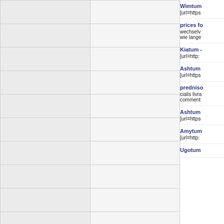|  |  |
|  |  |
|  |  |
|  |  |
|  |  |
|  |  |
|  |  |
|  |  |
|  |  |
|  |  |
Wimtum
[url=https...
prices fo...
wechselv... wie lange...
Kiatum -
[url=http:...
Ashtum
[url=https...
predniso...
cialis livra... comment...
Ashtum
[url=https...
Amytum...
[url=http:...
Ugotum...